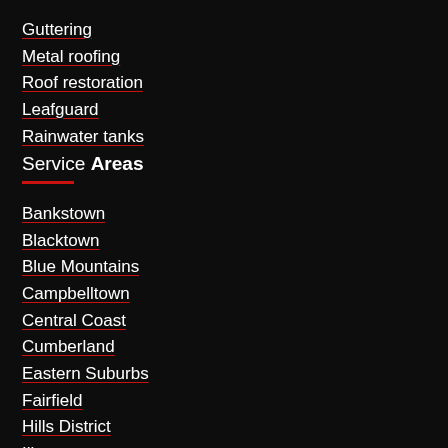Guttering
Metal roofing
Roof restoration
Leafguard
Rainwater tanks
Service Areas
Bankstown
Blacktown
Blue Mountains
Campbelltown
Central Coast
Cumberland
Eastern Suburbs
Fairfield
Hills District
Illawarra